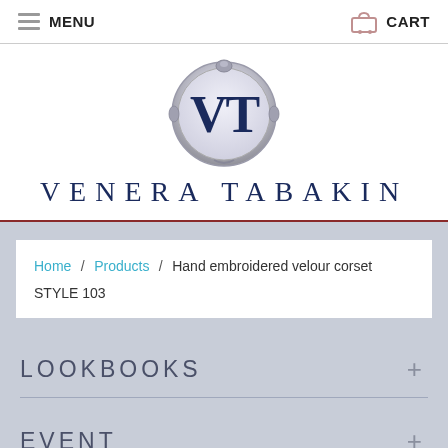MENU   CART
[Figure (logo): Venera Tabakin brand logo — ornate silver oval frame with a decorative V monogram in dark navy blue, and the text VENERA TABAKIN in navy serif capitals below]
Home / Products / Hand embroidered velour corset STYLE 103
LOOKBOOKS +
EVENT +